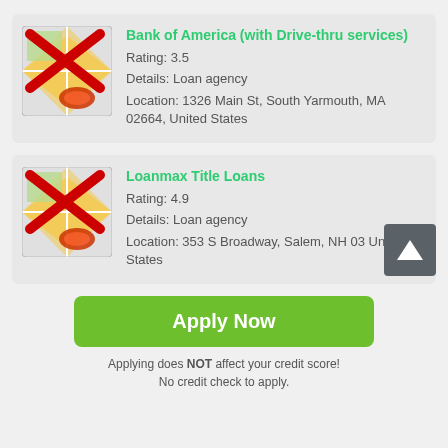[Figure (screenshot): Map thumbnail with red X overlay for Bank of America listing]
Bank of America (with Drive-thru services)
Rating: 3.5
Details: Loan agency
Location: 1326 Main St, South Yarmouth, MA 02664, United States
[Figure (screenshot): Map thumbnail with red X overlay for Loanmax Title Loans listing]
Loanmax Title Loans
Rating: 4.9
Details: Loan agency
Location: 353 S Broadway, Salem, NH 03 United States
Apply Now
Applying does NOT affect your credit score!
No credit check to apply.